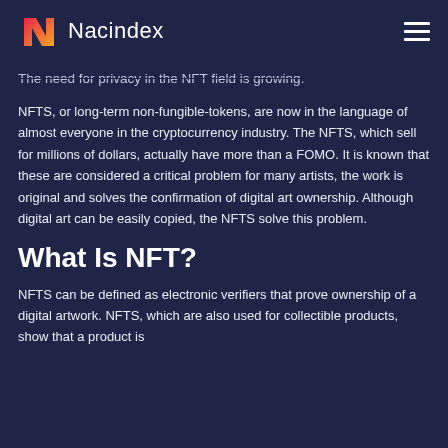Nacindex
The need for privacy in the NFT field is growing.
NFTS, or long-term non-fungible-tokens, are now in the language of almost everyone in the cryptocurrency industry. The NFTS, which sell for millions of dollars, actually have more than a FOMO. It is known that these are considered a critical problem for many artists, the work is original and solves the confirmation of digital art ownership. Although digital art can be easily copied, the NFTS solve this problem.
What Is NFT?
NFTS can be defined as electronic verifiers that prove ownership of a digital artwork. NFTS, which are also used for collectible products, show that a product is